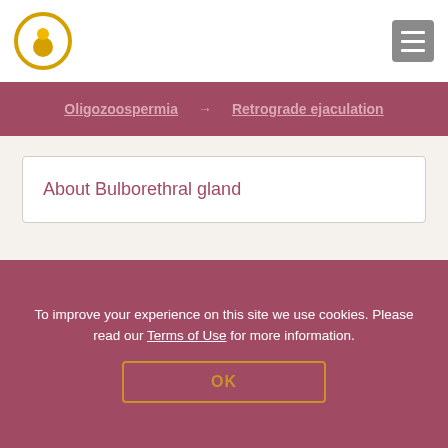Logo and navigation header
Oligozoospermia → Retrograde ejaculation
About Bulborethral gland
About Bulborethral gland ∧
Function
To improve your experience on this site we use cookies. Please read our Terms of Use for more information.
OK